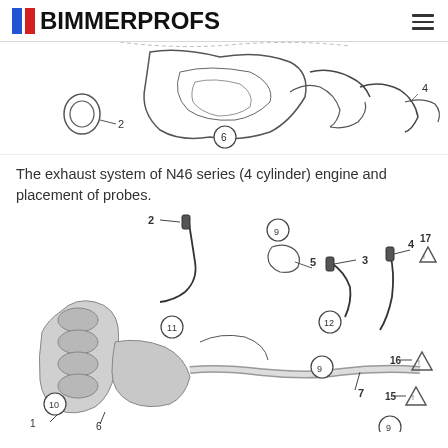BIMMERPROFS
[Figure (engineering-diagram): Partial view of exhaust system diagram showing components labeled 2, 4, 6 with connector lines and callout circles]
The exhaust system of N46 series (4 cylinder) engine and placement of probes.
[Figure (engineering-diagram): Exhaust system of N46 series 4-cylinder engine showing probe placement. Components labeled: 1, 2, 3, 4, 5, 6, 7, 9, 10, 11, 12, 15, 16, 17 with callout lines and circles. Shows exhaust manifold, oxygen sensors, and warning triangle symbols.]